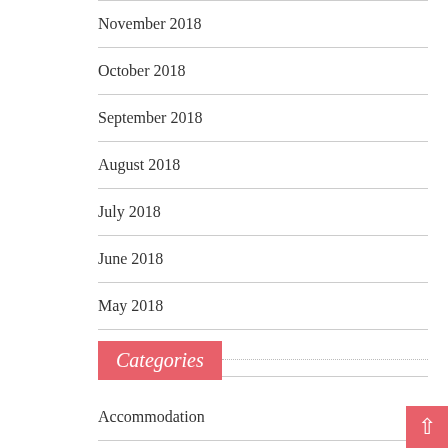November 2018
October 2018
September 2018
August 2018
July 2018
June 2018
May 2018
March 2018
Categories
Accommodation
Adventure